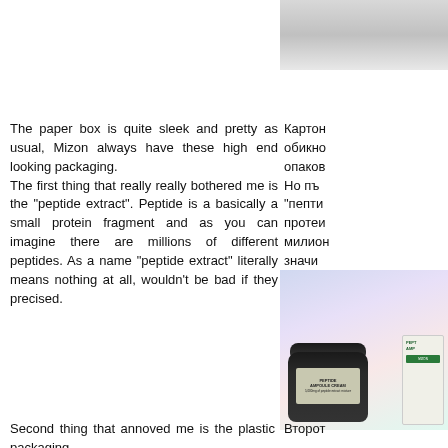[Figure (photo): Top portion of product packaging box, light gray color]
The paper box is quite sleek and pretty as usual, Mizon always have these high end looking packaging. The first thing that really really bothered me is the "peptide extract". Peptide is a basically a small protein fragment and as you can imagine there are millions of different peptides. As a name "peptide extract" literally means nothing at all, wouldn't be bad if they precised.
Картон обикно опаков Но пъ "пепти протеи милион значи уточнят
[Figure (photo): Photo of Mizon Peptide Ampoule Cream jar (dark glass) with white box packaging on colorful bokeh background]
Second thing that annoved me is the plastic packaging.
Второт